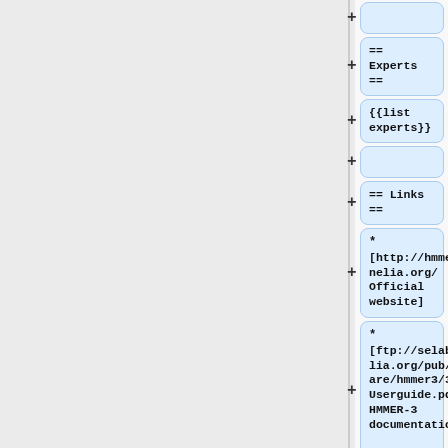[Figure (screenshot): Wiki markup editor showing a list of items with plus buttons on the left. Items include empty fields, '== Experts ==', '{{list experts}}', empty field, '== Links ==', a link item with '* [http://hmmer.janelia.org/ Official website]', another item '* [ftp://selab.janelia.org/pub/software/hmmer3/3.0/Userguide.pdf HMMER-3 documentation]', and a partial item with '*'.]